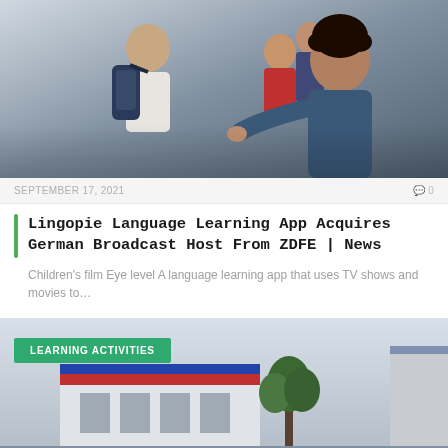[Figure (photo): A man in a blue denim shirt interacting with children; a boy with a backpack and girls in background, in a corridor setting.]
SEPTEMBER 17, 2021    0
Lingopie Language Learning App Acquires German Broadcast Host From ZDFE | News
Children's film Eye level A language learning app that uses TV shows and movies to…
[Figure (photo): Outdoor scene with a building, trees, and overcast sky, with a green 'LEARNING ACTIVITIES' badge overlay.]